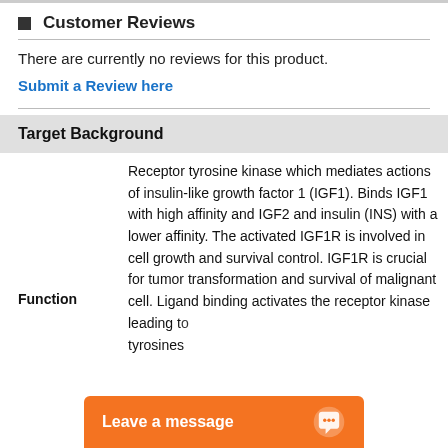Customer Reviews
There are currently no reviews for this product.
Submit a Review here
Target Background
Function
Receptor tyrosine kinase which mediates actions of insulin-like growth factor 1 (IGF1). Binds IGF1 with high affinity and IGF2 and insulin (INS) with a lower affinity. The activated IGF1R is involved in cell growth and survival control. IGF1R is crucial for tumor transformation and survival of malignant cell. Ligand binding activates the receptor kinase leading to tyrosines